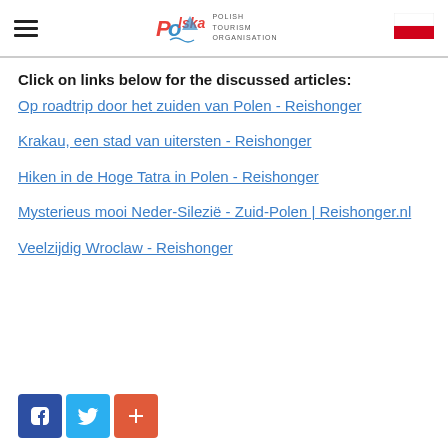Polish Tourism Organisation
Click on links below for the discussed articles:
Op roadtrip door het zuiden van Polen - Reishonger
Krakau, een stad van uitersten - Reishonger
Hiken in de Hoge Tatra in Polen - Reishonger
Mysterieus mooi Neder-Silezië - Zuid-Polen | Reishonger.nl
Veelzijdig Wroclaw - Reishonger
[Figure (infographic): Social share buttons: Facebook, Twitter, and a plus/share button]